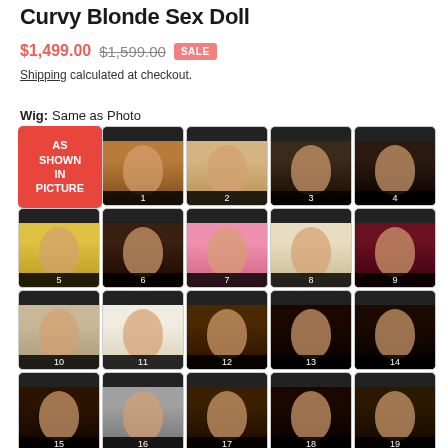Curvy Blonde Sex Doll
$1,499.00  $1,599.00  SALE
Shipping calculated at checkout.
Wig:  Same as Photo
[Figure (other): Grid of 20 wig options numbered 1-19 plus AS SHOWN IN PICTURE option. Each cell shows a doll head with different wig styles and colors including curly brown, blonde straight, dark bob, black long, yellow wavy, dark long, pink, light blonde, dark red, ash blonde, white blonde, dark brown, black side, black long, dark long, gray, dark medium, black bangs, dark straight.]